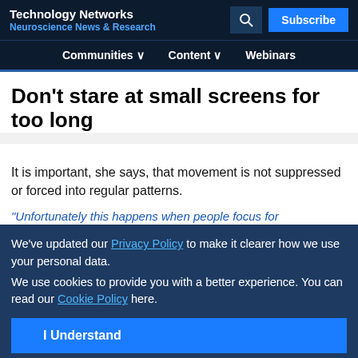Technology Networks
Neuroscience News & Research
Communities  Content  Webinars
Don't stare at small screens for too long
It is important, she says, that movement is not suppressed or forced into regular patterns.
Unfortunately this happens when people focus for...
We've updated our Privacy Policy to make it clearer how we use your personal data.
We use cookies to provide you with a better experience. You can read our Cookie Policy here.
...smartphones and similar devices also in the field of e-learning – at the time of the Corona pandemic – could therefore have a negative effect on
Advertisement
[Figure (other): Somalogic advertisement banner: Pioneer with 7,000 proteins]